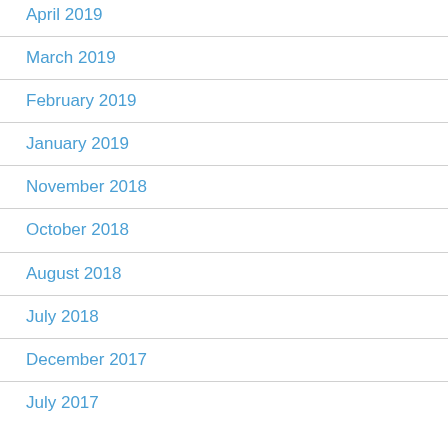April 2019
March 2019
February 2019
January 2019
November 2018
October 2018
August 2018
July 2018
December 2017
July 2017